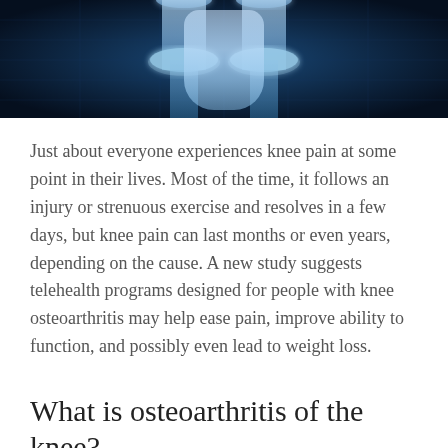[Figure (photo): X-ray style image of a knee joint with blue glowing tones on dark background]
Just about everyone experiences knee pain at some point in their lives. Most of the time, it follows an injury or strenuous exercise and resolves in a few days, but knee pain can last months or even years, depending on the cause. A new study suggests telehealth programs designed for people with knee osteoarthritis may help ease pain, improve ability to function, and possibly even lead to weight loss.
What is osteoarthritis of the knee?
Osteoarthritis (OA) — the age-related, “wear-and-tear” degeneration of the knee joint — is the number one cause